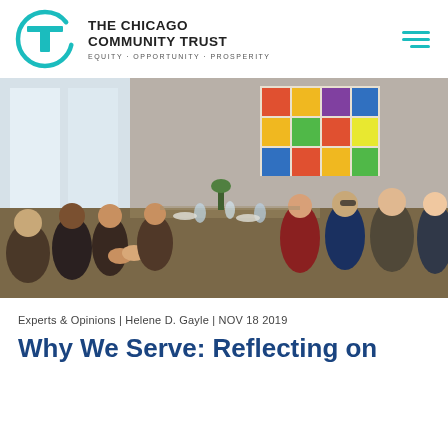[Figure (logo): The Chicago Community Trust logo: teal circle with T letterform, beside bold uppercase text 'THE CHICAGO COMMUNITY TRUST' and tagline 'EQUITY · OPPORTUNITY · PROSPERITY']
[Figure (photo): A long banquet dinner table with many diverse attendees sitting on both sides, food and drinks on the table, colorful abstract artwork visible on back wall, large windowed venue]
Experts & Opinions | Helene D. Gayle | NOV 18 2019
Why We Serve: Reflecting on